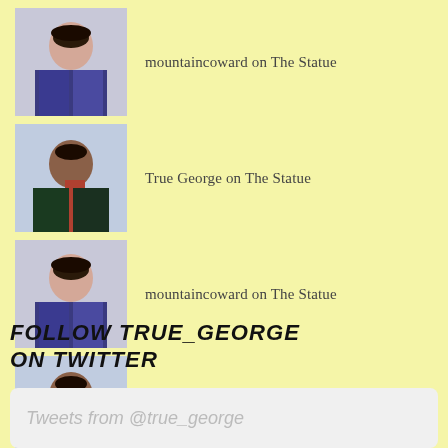mountaincoward on The Statue
True George on The Statue
mountaincoward on The Statue
True George on Lunar Landing
mountaincoward on Lunar Landing
FOLLOW TRUE_GEORGE ON TWITTER
Tweets from @true_george